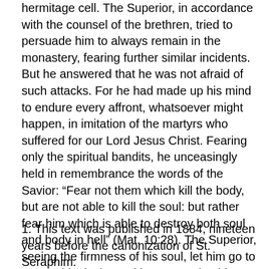hermitage cell. The Superior, in accordance with the counsel of the brethren, tried to persuade him to always remain in the monastery, fearing further similar incidents. But he answered that he was not afraid of such attacks. For he had made up his mind to endure every affront, whatsoever might happen, in imitation of the martyrs who suffered for our Lord Jesus Christ. Fearing only the spiritual bandits, he unceasingly held in remembrance the words of the Savior: “Fear not them which kill the body, but are not able to kill the soul: but rather fear him which is able to destroy both soul and body in hell” (Mat. 10:28). The Superior, seeing the firmness of his soul, let him go to pursue his desire and he returned to his desert cell. (to be continued)
1. This text was published in 1884, nineteen years before the canonization of St. Seraphim.